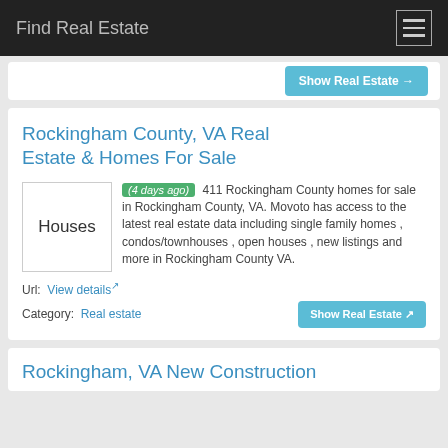Find Real Estate
Show Real Estate →
Rockingham County, VA Real Estate & Homes For Sale
(4 days ago) 411 Rockingham County homes for sale in Rockingham County, VA. Movoto has access to the latest real estate data including single family homes , condos/townhouses , open houses , new listings and more in Rockingham County VA.
Url: View details
Category: Real estate
Show Real Estate
Rockingham, VA New Construction